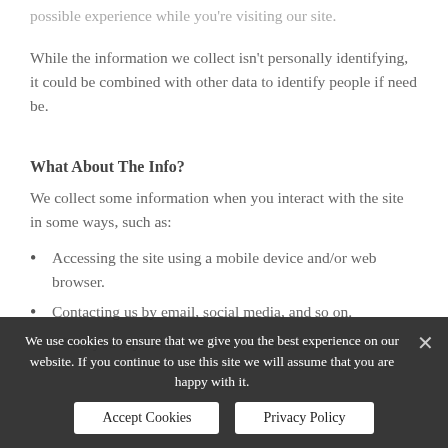possible experience while you're visiting our site.
While the information we collect isn't personally identifying, it could be combined with other data to identify people if need be.
What About The Info?
We collect some information when you interact with the site in some ways, such as:
Accessing the site using a mobile device and/or web browser.
Contacting us by email, social media, and so on.
When you say hello to us on social media.
We use cookies to ensure that we give you the best experience on our website. If you continue to use this site we will assume that you are happy with it.